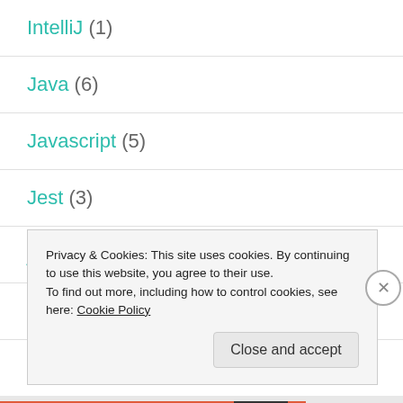IntelliJ (1)
Java (6)
Javascript (5)
Jest (3)
jsoup (1)
Keepass (1)
Privacy & Cookies: This site uses cookies. By continuing to use this website, you agree to their use.
To find out more, including how to control cookies, see here: Cookie Policy
Close and accept